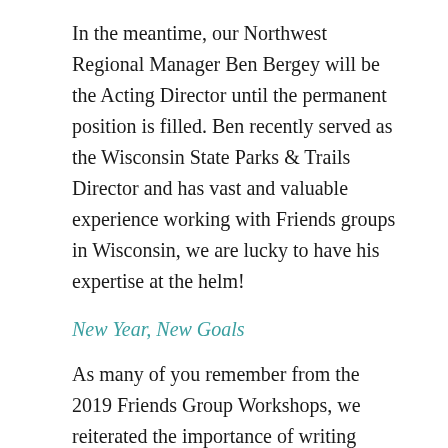In the meantime, our Northwest Regional Manager Ben Bergey will be the Acting Director until the permanent position is filled. Ben recently served as the Wisconsin State Parks & Trails Director and has vast and valuable experience working with Friends groups in Wisconsin, we are lucky to have his expertise at the helm!
New Year, New Goals
As many of you remember from the 2019 Friends Group Workshops, we reiterated the importance of writing down annual goals identified by both your Friends group and local DNR staff. This exercise helps clarify priorities, organize time and resources, and improve communication. The new year is a